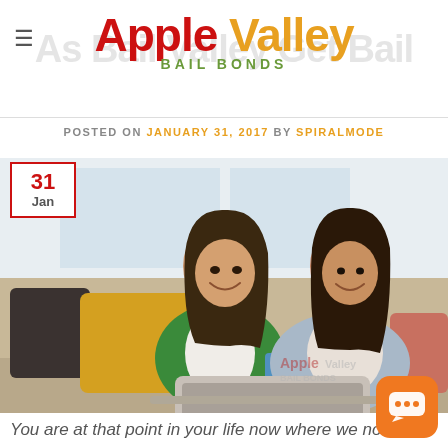Apple Valley Bail Bonds
POSTED ON JANUARY 31, 2017 BY SPIRALMODE
[Figure (photo): Two young women smiling and sitting on a couch with colorful pillows, one holding a blue mug, a laptop in front of them. Apple Valley Bail Bonds watermark visible. Date badge showing 31 Jan in upper left corner.]
You are at that point in your life now where we no longer